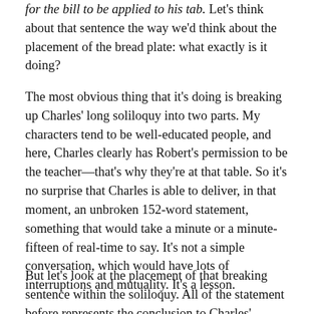for the bill to be applied to his tab. Let's think about that sentence the way we'd think about the placement of the bread plate: what exactly is it doing?
The most obvious thing that it's doing is breaking up Charles' long soliloquy into two parts. My characters tend to be well-educated people, and here, Charles clearly has Robert's permission to be the teacher—that's why they're at that table. So it's no surprise that Charles is able to deliver, in that moment, an unbroken 152-word statement, something that would take a minute or a minute-fifteen of real-time to say. It's not a simple conversation, which would have lots of interruptions and mutuality. It's a lesson.
But let's look at the placement of that breaking sentence within the soliloquy. All of the statement before represents the conclusion to Charles' analysis of the objective world before them: the tablware, the glasses